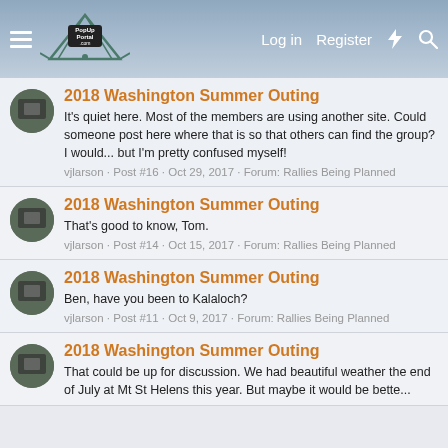PopUpPortal.com — Log in | Register
2018 Washington Summer Outing
It's quiet here. Most of the members are using another site. Could someone post here where that is so that others can find the group? I would... but I'm pretty confused myself!
vjlarson · Post #16 · Oct 29, 2017 · Forum: Rallies Being Planned
2018 Washington Summer Outing
That's good to know, Tom.
vjlarson · Post #14 · Oct 15, 2017 · Forum: Rallies Being Planned
2018 Washington Summer Outing
Ben, have you been to Kalaloch?
vjlarson · Post #11 · Oct 9, 2017 · Forum: Rallies Being Planned
2018 Washington Summer Outing
That could be up for discussion. We had beautiful weather the end of July at Mt St Helens this year. But maybe it would be bette...